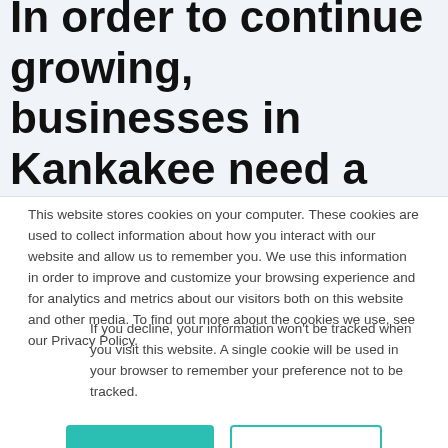In order to continue growing, businesses in Kankakee need a trusted merchant service agent. With EMS, you can be the answer to their problems by customizing their payment products and services to handle transactions timely and securely.
This website stores cookies on your computer. These cookies are used to collect information about how you interact with our website and allow us to remember you. We use this information in order to improve and customize your browsing experience and for analytics and metrics about our visitors both on this website and other media. To find out more about the cookies we use, see our Privacy Policy.
If you decline, your information won't be tracked when you visit this website. A single cookie will be used in your browser to remember your preference not to be tracked.
Accept
Decline